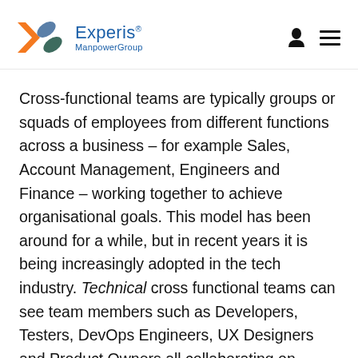Experis ManpowerGroup
Cross-functional teams are typically groups or squads of employees from different functions across a business – for example Sales, Account Management, Engineers and Finance – working together to achieve organisational goals. This model has been around for a while, but in recent years it is being increasingly adopted in the tech industry. Technical cross functional teams can see team members such as Developers, Testers, DevOps Engineers, UX Designers and Product Owners all collaborating on projects with a greater level of synergy, communication and a clearly defined